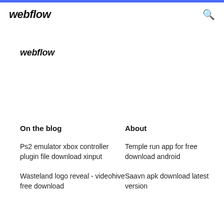webflow
webflow
On the blog
About
Ps2 emulator xbox controller plugin file download xinput
Wasteland logo reveal - videohive free download
Temple run app for free download android
Saavn apk download latest version